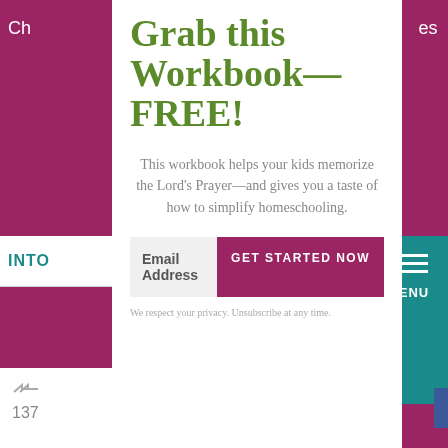Grab this Workbook—FREE!
This workbook helps your kids memorize the Lord's Prayer—and gives you a taste of how to simplify homeschooling.
Email Address
GET STARTED NOW
We respect your privacy. Unsubscribe at any time.